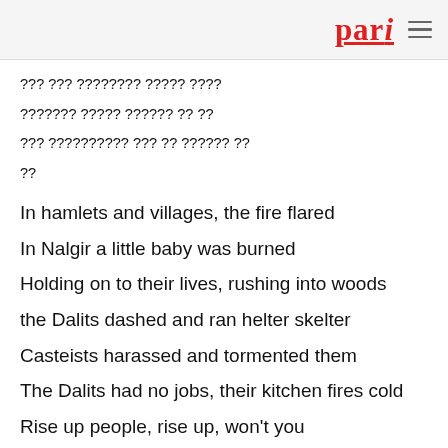pari
??? ??? ???????? ????? ???? ??????? ????? ?????? ?? ?? ??? ?????????? ??? ?? ?????? ??? ??
In hamlets and villages, the fire flared
In Nalgir a little baby was burned
Holding on to their lives, rushing into woods
the Dalits dashed and ran helter skelter
Casteists harassed and tormented them
The Dalits had no jobs, their kitchen fires cold
Rise up people, rise up, won't you